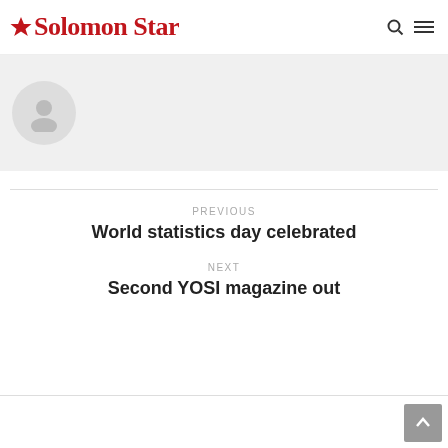Solomon Star
[Figure (illustration): User avatar placeholder circle with generic person silhouette on grey background]
PREVIOUS
World statistics day celebrated
NEXT
Second YOSI magazine out